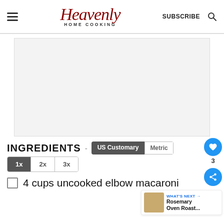Heavenly HOME COOKING | SUBSCRIBE
[Figure (other): Gray advertisement placeholder area]
INGREDIENTS
US Customary | Metric
1x 2x 3x
4 cups uncooked elbow macaroni